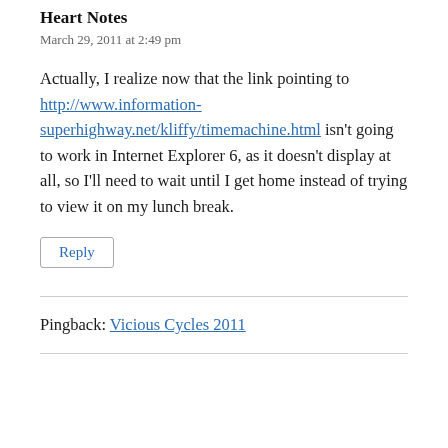Heart Notes
March 29, 2011 at 2:49 pm
Actually, I realize now that the link pointing to http://www.information-superhighway.net/kliffy/timemachine.html isn't going to work in Internet Explorer 6, as it doesn't display at all, so I'll need to wait until I get home instead of trying to view it on my lunch break.
Reply
Pingback: Vicious Cycles 2011